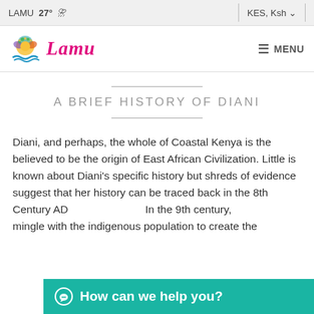LAMU 27° | KES, Ksh ∨
[Figure (logo): Lamu website logo: colorful sun/tree graphic with blue waves and pink italic 'Lamu' text]
≡ MENU
A BRIEF HISTORY OF DIANI
Diani, and perhaps, the whole of Coastal Kenya is the believed to be the origin of East African Civilization. Little is known about Diani's specific history but shreds of evidence suggest that her history can be traced back in the 8th Century AD. In the 9th century, [text obscured] mingle with the indigenous population to create the
How can we help you?